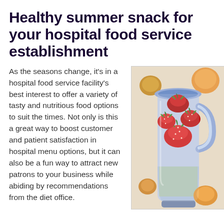Healthy summer snack for your hospital food service establishment
As the seasons change, it's in a hospital food service facility's best interest to offer a variety of tasty and nutritious food options to suit the times. Not only is this a great way to boost customer and patient satisfaction in hospital menu options, but it can also be a fun way to attract new patrons to your business while abiding by recommendations from the diet office.
[Figure (photo): A blender filled with fresh strawberries, with tropical fruits in the background, suggesting a healthy fruit smoothie.]